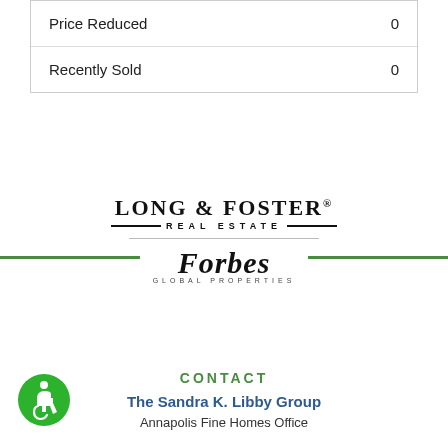|  |  |
| --- | --- |
| Price Reduced | 0 |
| Recently Sold | 0 |
[Figure (logo): Long & Foster Real Estate logo with Forbes Global Properties logo below, separated by a green horizontal divider line]
CONTACT
The Sandra K. Libby Group
Annapolis Fine Homes Office
[Figure (illustration): Green circular accessibility icon with wheelchair user symbol in white]